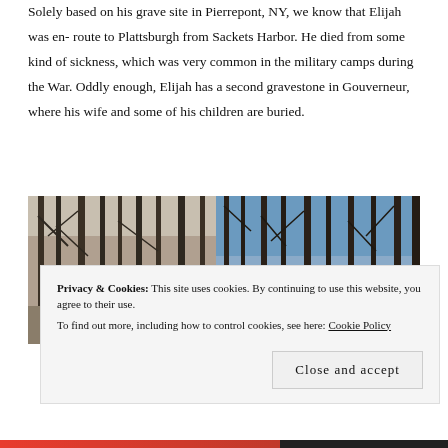Solely based on his grave site in Pierrepont, NY, we know that Elijah was en-route to Plattsburgh from Sackets Harbor. He died from some kind of sickness, which was very common in the military camps during the War. Oddly enough, Elijah has a second gravestone in Gouverneur, where his wife and some of his children are buried.
[Figure (photo): Two side-by-side outdoor winter forest photographs showing bare leafless trees. Left photo has muted brownish tones with a path, right photo shows blue sky through bare tree branches.]
Privacy & Cookies: This site uses cookies. By continuing to use this website, you agree to their use. To find out more, including how to control cookies, see here: Cookie Policy
Close and accept